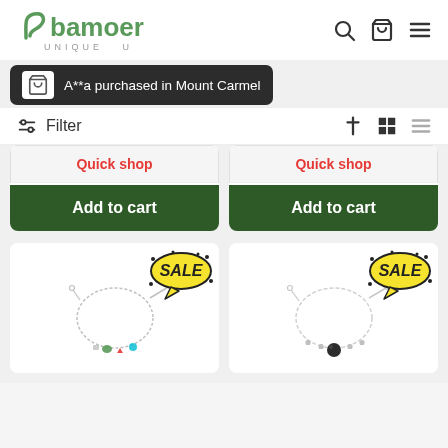[Figure (logo): Bamoer brand logo with green leaf curl and text 'bamoer UNIQUE U']
A**a purchased in Mount Carmel
Filter
Quick shop
Quick shop
Add to cart
Add to cart
[Figure (photo): Silver bracelet with colorful charms and SALE badge]
[Figure (photo): Silver charm bracelet with dark bead and SALE badge]